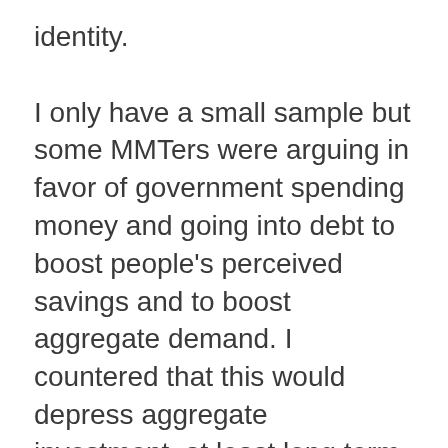identity.

I only have a small sample but some MMTers were arguing in favor of government spending money and going into debt to boost people's perceived savings and to boost aggregate demand. I countered that this would depress aggregate investment, at least long term aggregate investment (by redirect resources towards consumption or short term investment) and leave us worst off in the long run. They argued that people's savings don't matter because they are